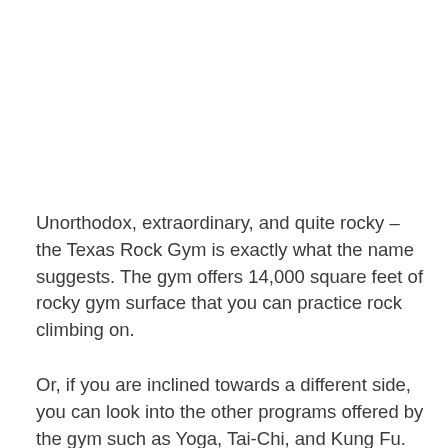Unorthodox, extraordinary, and quite rocky – the Texas Rock Gym is exactly what the name suggests. The gym offers 14,000 square feet of rocky gym surface that you can practice rock climbing on.
Or, if you are inclined towards a different side, you can look into the other programs offered by the gym such as Yoga, Tai-Chi, and Kung Fu. Whatever you do, we are certain it